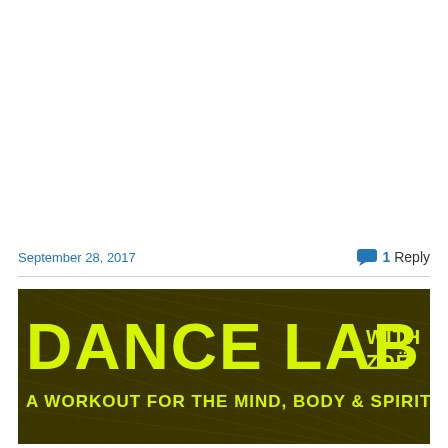September 28, 2017
1 Reply
[Figure (illustration): Dance Lab with Zoë banner — yellow bold text on dark olive/brown background with faint bamboo or grid texture. Text reads: DANCE LAB WITH ZOË / A WORKOUT FOR THE MIND, BODY & SPIRIT]